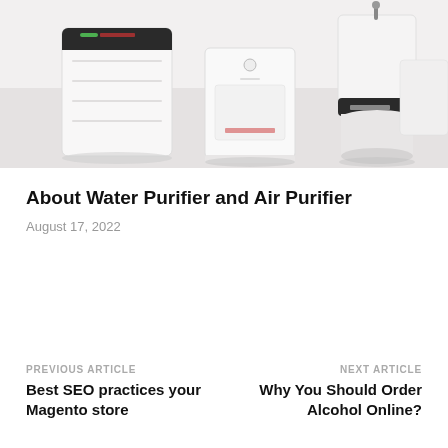[Figure (photo): Product photo showing multiple white water purifiers and air purifiers arranged together against a light background with shelving]
About Water Purifier and Air Purifier
August 17, 2022
PREVIOUS ARTICLE
Best SEO practices your Magento store
NEXT ARTICLE
Why You Should Order Alcohol Online?